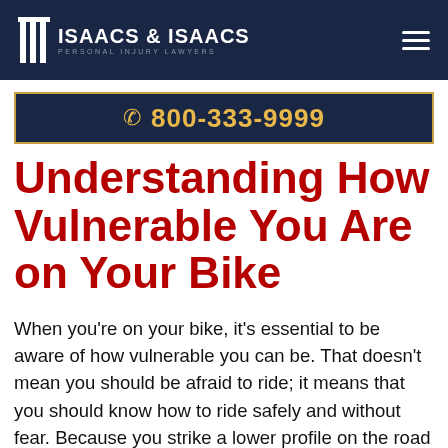ISAACS & ISAACS PERSONAL INJURY LAWYERS
☎ 800-333-9999
Understanding How Vulnerable You Are on Your Bike
When you're on your bike, it's essential to be aware of how vulnerable you can be. That doesn't mean you should be afraid to ride; it means that you should know how to ride safely and without fear. Because you strike a lower profile on the road than other vehicles, you're more difficult for motorists to